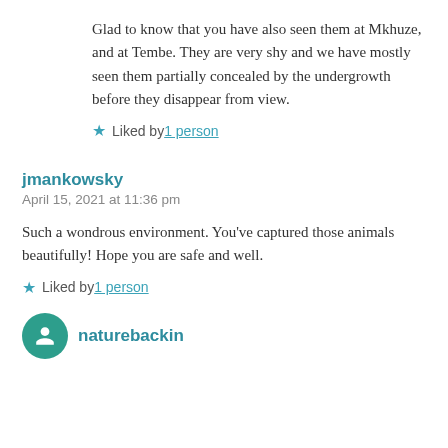Glad to know that you have also seen them at Mkhuze, and at Tembe. They are very shy and we have mostly seen them partially concealed by the undergrowth before they disappear from view.
★ Liked by 1 person
jmankowsky
April 15, 2021 at 11:36 pm
Such a wondrous environment. You've captured those animals beautifully! Hope you are safe and well.
★ Liked by 1 person
naturebackin